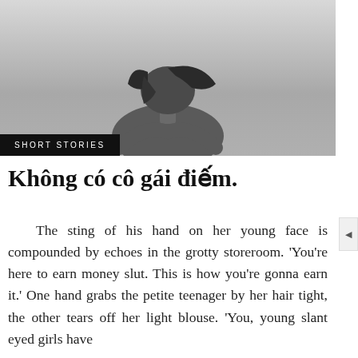[Figure (photo): Black and white photo of a person with dark hair seen from behind, head bowed down, in a grey background. A black label at the bottom left reads 'SHORT STORIES'.]
Không có cô gái điếm.
The sting of his hand on her young face is compounded by echoes in the grotty storeroom. 'You're here to earn money slut. This is how you're gonna earn it.' One hand grabs the petite teenager by her hair tight, the other tears off her light blouse. 'You, young slant eyed girls have